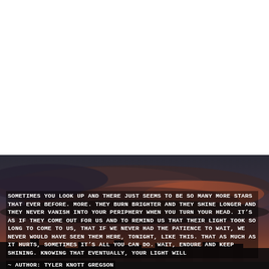[Figure (photo): A dark moody sky at dusk/sunset with dramatic clouds and a reddish orange glow on the horizon, with dark city silhouette at the bottom. A motivational quote is overlaid on the lower portion of the image.]
Sometimes you look up and there just seems to be so many more stars that ever before. More. They burn brighter and they shine longer and they never vanish into your periphery when you turn your head. It's as if they come out for us and to remind us that their light took so long to come to us, that if we never had the patience to wait, we never would have seen them here, tonight, like this. That as much as it hurts, sometimes it's all you can do. Wait, endure and keep shining. Knowing that eventually, your light will ~ Author: Tyler Knott Gregson